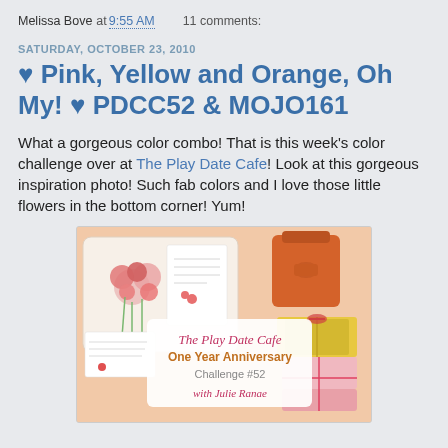Melissa Bove at 9:55 AM   11 comments:
SATURDAY, OCTOBER 23, 2010
♥ Pink, Yellow and Orange, Oh My! ♥ PDCC52 & MOJO161
What a gorgeous color combo! That is this week's color challenge over at The Play Date Cafe! Look at this gorgeous inspiration photo! Such fab colors and I love those little flowers in the bottom corner! Yum!
[Figure (photo): Inspiration photo from The Play Date Cafe showing pink and orange stationery, flowers, gift boxes, and wrapped presents. Center overlay text reads: The Play Date Cafe / One Year Anniversary / Challenge #52 / with Julie Ranae]